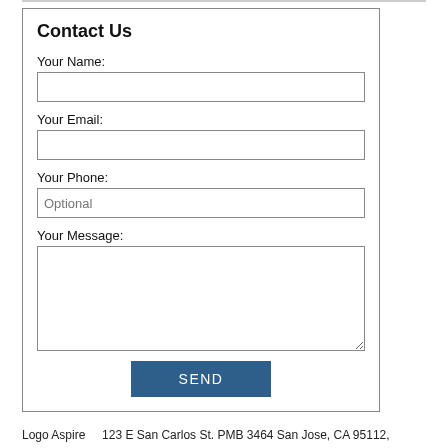Contact Us
Your Name:
Your Email:
Your Phone:
Your Message:
SEND
Logo Aspire    123 E San Carlos St. PMB 3464 San Jose, CA 95112,